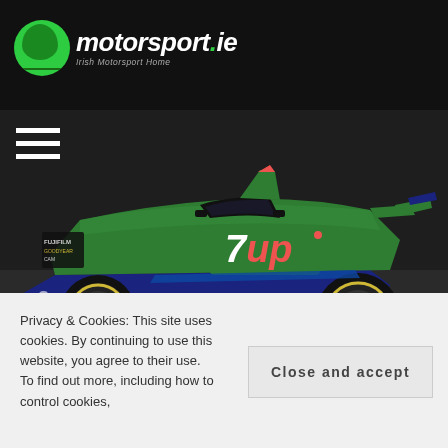motorsport.ie - Irish Motorsport Home
[Figure (photo): A green and blue Jordan F1 car with 7UP livery, Goodyear tires, Ireland branding, sponsors including FUJI FILM, Goodyear, CAM, osama, OZ. Car number 3.]
POSTED SEPTEMBER 9, 2015 / NEWS
Wexford Stages Ready To
Privacy & Cookies: This site uses cookies. By continuing to use this website, you agree to their use. To find out more, including how to control cookies,
Close and accept